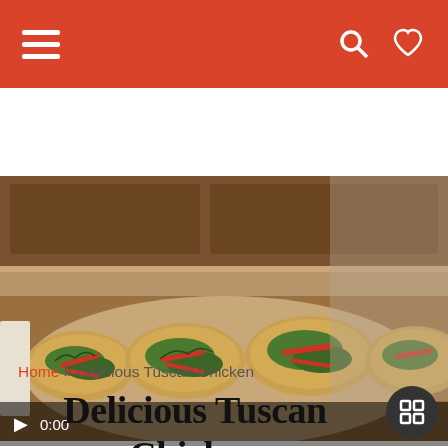Navigation bar with hamburger menu, search icon, and heart/favorites icon
[Figure (screenshot): Video player showing Tuscan Chicken dish on a plate, with video controls showing 0:00 timestamp and a play button at the bottom]
Home » Delicious Tuscan Chicken
Delicious Tuscan Chicken